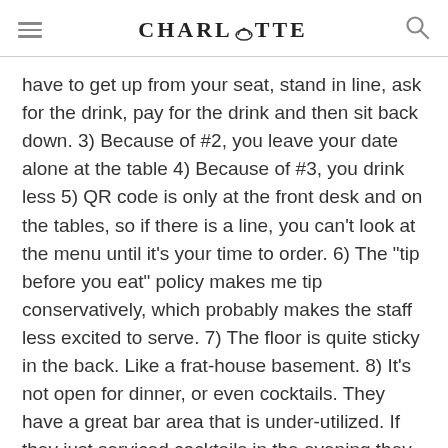CHARLOTTE
have to get up from your seat, stand in line, ask for the drink, pay for the drink and then sit back down. 3) Because of #2, you leave your date alone at the table 4) Because of #3, you drink less 5) QR code is only at the front desk and on the tables, so if there is a line, you can't look at the menu until it's your time to order. 6) The "tip before you eat" policy makes me tip conservatively, which probably makes the staff less excited to serve. 7) The floor is quite sticky in the back. Like a frat-house basement. 8) It's not open for dinner, or even cocktails. They have a great bar area that is under-utilized. If they just serviced cocktails in the evening they would likely make more than their brunch service with fewer people on staff.
[Figure (illustration): Orange circle avatar with white letter M]